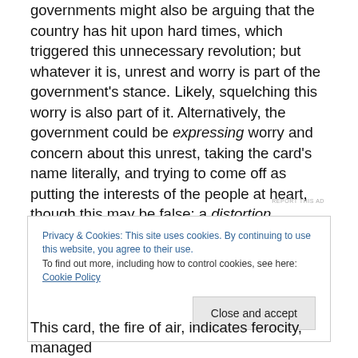governments might also be arguing that the country has hit upon hard times, which triggered this unnecessary revolution; but whatever it is, unrest and worry is part of the government's stance. Likely, squelching this worry is also part of it. Alternatively, the government could be expressing worry and concern about this unrest, taking the card's name literally, and trying to come off as putting the interests of the people at heart, though this may be false; a distortion, perchance?
REPORT THIS AD
Privacy & Cookies: This site uses cookies. By continuing to use this website, you agree to their use. To find out more, including how to control cookies, see here: Cookie Policy
Close and accept
This card, the fire of air, indicates ferocity, managed